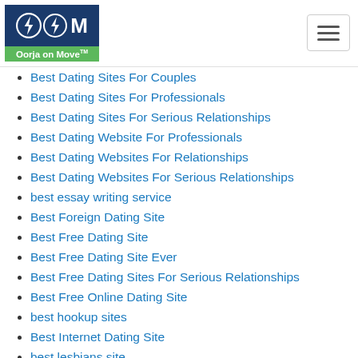Oorja on Move logo and hamburger menu
Best Dating Sites For Couples
Best Dating Sites For Professionals
Best Dating Sites For Serious Relationships
Best Dating Website For Professionals
Best Dating Websites For Relationships
Best Dating Websites For Serious Relationships
best essay writing service
Best Foreign Dating Site
Best Free Dating Site
Best Free Dating Site Ever
Best Free Dating Sites For Serious Relationships
Best Free Online Dating Site
best hookup sites
Best Internet Dating Site
best lesbians site
best mail order bride agency